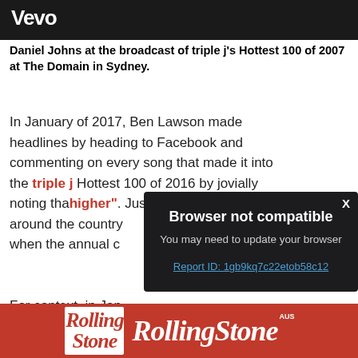[Figure (screenshot): Top portion of a video thumbnail with dark background showing Vevo logo in white]
Daniel Johns at the broadcast of triple j's Hottest 100 of 2007 at The Domain in Sydney.
In January of 2017, Ben Lawson made headlines by heading to Facebook and commenting on every song that made it into the triple j Hottest 100 of 2016 by jovially noting tha... higher". Just nin... around the country... when the annual c...
[Figure (screenshot): Browser not compatible modal overlay on dark background with close X button, subtitle 'You may need to update your browser', and Report ID link]
For context, in Jan... almost been going...
[Figure (screenshot): Rolling Stone Australia advertisement banner in red with magazine cover thumbnail and Rolling Stone logo in white italic text]